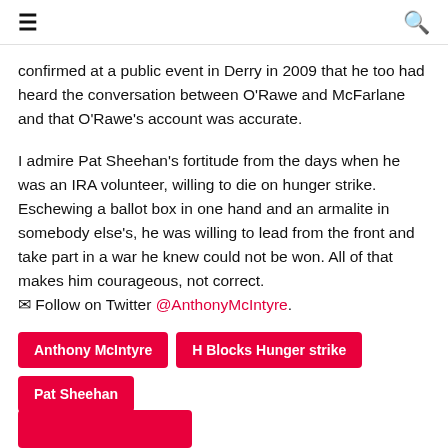≡  🔍
confirmed at a public event in Derry in 2009 that he too had heard the conversation between O'Rawe and McFarlane and that O'Rawe's account was accurate.
I admire Pat Sheehan's fortitude from the days when he was an IRA volunteer, willing to die on hunger strike. Eschewing a ballot box in one hand and an armalite in somebody else's, he was willing to lead from the front and take part in a war he knew could not be won. All of that makes him courageous, not correct.
✉ Follow on Twitter @AnthonyMcIntyre.
Anthony McIntyre
H Blocks Hunger strike
Pat Sheehan